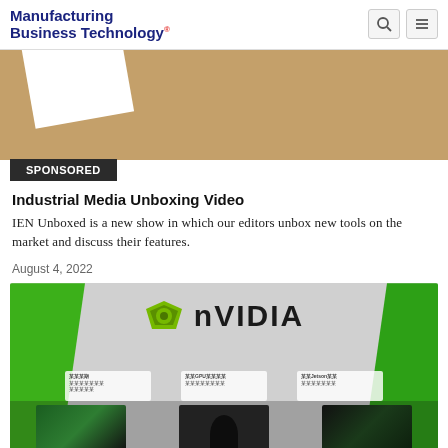Manufacturing Business Technology
[Figure (photo): Cardboard and white paper background image, partially cropped at top]
SPONSORED
Industrial Media Unboxing Video
IEN Unboxed is a new show in which our editors unbox new tools on the market and discuss their features.
August 4, 2022
[Figure (photo): NVIDIA branded booth/showroom with green and grey decor, NVIDIA logo visible, people and screens in foreground]